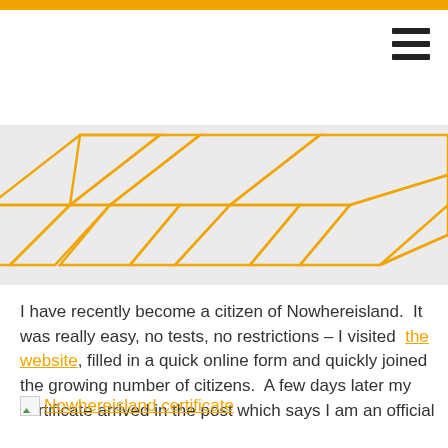[Figure (map): Abstract map illustration with golden/orange road lines on light grey background, showing intersecting streets and blocks at an angle]
I have recently become a citizen of Nowhereisland.  It was really easy, no tests, no restrictions – I visited  the website, filled in a quick online form and quickly joined the growing number of citizens.  A few days later my certificate arrived in the post which says I am an official
[Figure (screenshot): Nowhereisland certificate – image link with broken image icon]